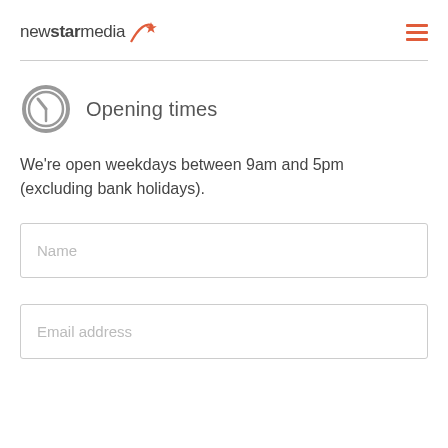newstarmedia (logo with icon)
Opening times
We're open weekdays between 9am and 5pm (excluding bank holidays).
Name
Email address